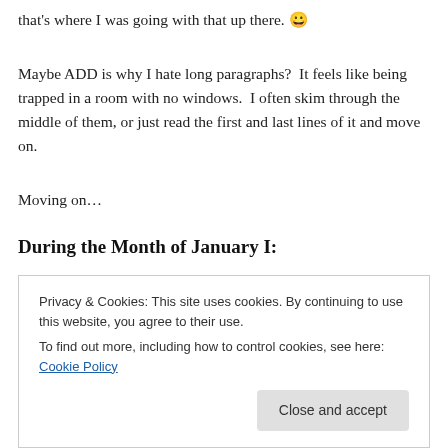that's where I was going with that up there. 😀
Maybe ADD is why I hate long paragraphs?  It feels like being trapped in a room with no windows.  I often skim through the middle of them, or just read the first and last lines of it and move on.
Moving on…
During the Month of January I:
Started my first book challenge. The Welsh Reading…
Privacy & Cookies: This site uses cookies. By continuing to use this website, you agree to their use.
To find out more, including how to control cookies, see here: Cookie Policy
Close and accept